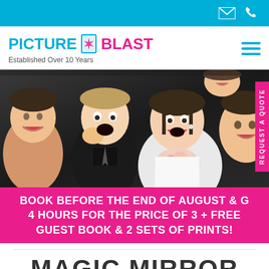Top navigation bar with email and phone icons
[Figure (logo): Picture Blast logo with cyan 'PICTURE' text, pink 'BLAST' text, and a door/burst icon in the middle. Tagline: Established Over 10 Years]
[Figure (photo): Group of young people posing excitedly, including a bride with flowers, in a photo booth style shot]
BOOK BEFORE THE END OF AUGUST & G 4 HOURS FOR THE PRICE OF 3 + FREE GUEST BOOK & 2 SETS OF PRINTS!
MAGIC MIRROR